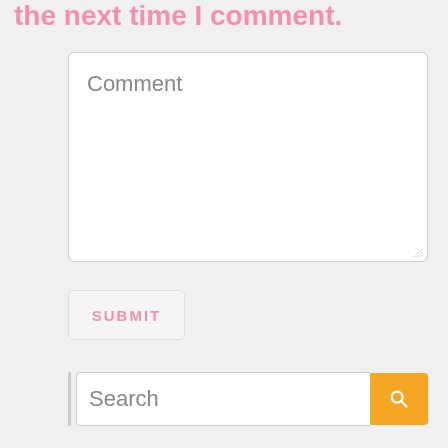the next time I comment.
[Figure (screenshot): Comment textarea input field with placeholder text 'Comment' and resize handle]
[Figure (screenshot): Submit button with pink text on light gray background]
[Figure (screenshot): Search bar with text input showing 'Search' placeholder and orange search button with magnifying glass icon]